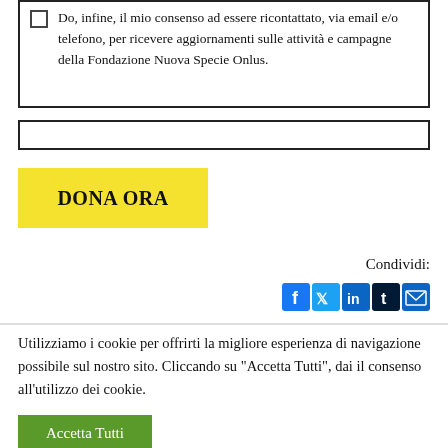Do, infine, il mio consenso ad essere ricontattato, via email e/o telefono, per ricevere aggiornamenti sulle attività e campagne della Fondazione Nuova Specie Onlus.
DONA ORA
Condividi:
[Figure (infographic): Social sharing icons: Facebook, Twitter, LinkedIn, Tumblr, Email]
Utilizziamo i cookie per offrirti la migliore esperienza di navigazione possibile sul nostro sito. Cliccando su "Accetta Tutti", dai il consenso all'utilizzo dei cookie.
Accetta Tutti